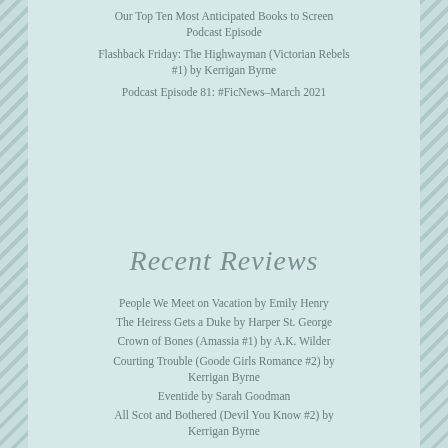Our Top Ten Most Anticipated Books to Screen Podcast Episode
Flashback Friday: The Highwayman (Victorian Rebels #1) by Kerrigan Byrne
Podcast Episode 81: #FicNews–March 2021
Recent Reviews
People We Meet on Vacation by Emily Henry
The Heiress Gets a Duke by Harper St. George
Crown of Bones (Amassia #1) by A.K. Wilder
Courting Trouble (Goode Girls Romance #2) by Kerrigan Byrne
Eventide by Sarah Goodman
All Scot and Bothered (Devil You Know #2) by Kerrigan Byrne